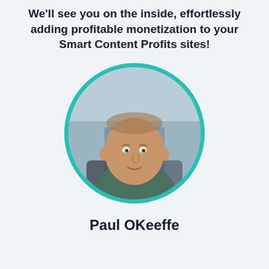We'll see you on the inside, effortlessly adding profitable monetization to your Smart Content Profits sites!
[Figure (photo): Circular headshot photo of Paul OKeeffe, a middle-aged bald man with a slight smile wearing a dark green shirt, set against a blurred office background. The photo is framed in a teal circular border.]
Paul OKeeffe